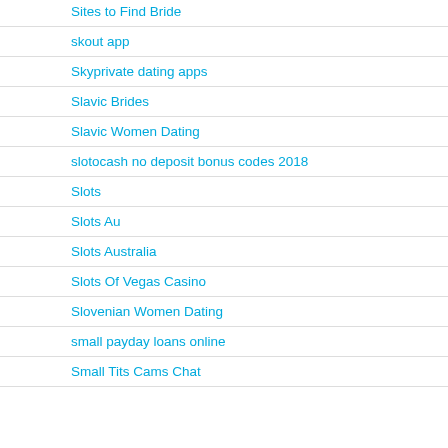Sites to Find Bride
skout app
Skyprivate dating apps
Slavic Brides
Slavic Women Dating
slotocash no deposit bonus codes 2018
Slots
Slots Au
Slots Australia
Slots Of Vegas Casino
Slovenian Women Dating
small payday loans online
Small Tits Cams Chat